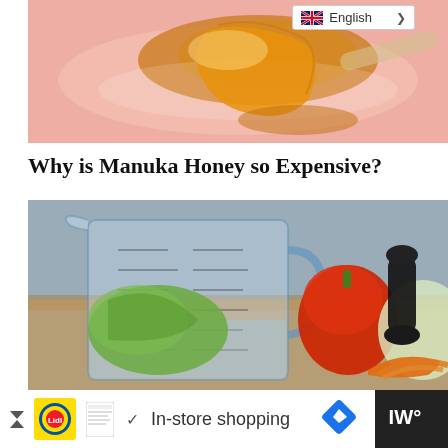[Figure (photo): Close-up photo of honey being poured from a spoon onto a pink/peach background, warm golden amber color]
[Figure (screenshot): English language selector dropdown button with UK flag icon and chevron]
Why is Manuka Honey so Expensive?
[Figure (photo): Photo of a glass measuring jug with water, surrounded by fresh vegetables including red pepper, lettuce, carrots, and a pepper grinder on a wooden cutting board]
[Figure (screenshot): Advertisement bar at bottom: Lidl logo, checkmark, 'In-store shopping' text, blue diamond navigation icon, and W logo on dark background]